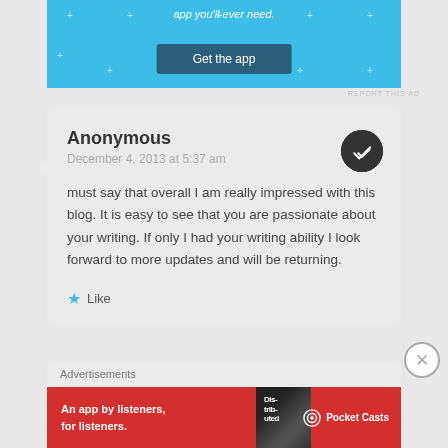[Figure (screenshot): Blue app advertisement banner (partial, top) with 'app you'll ever need.' text and 'Get the app' button]
REPORT THIS AD
Anonymous
December 4, 2013 at 5:37 am

must say that overall I am really impressed with this blog. It is easy to see that you are passionate about your writing. If only I had your writing ability I look forward to more updates and will be returning.

★ Like
Advertisements
[Figure (screenshot): Red Pocket Casts advertisement banner: 'An app by listeners, for listeners.' with Pocket Casts logo and phone image]